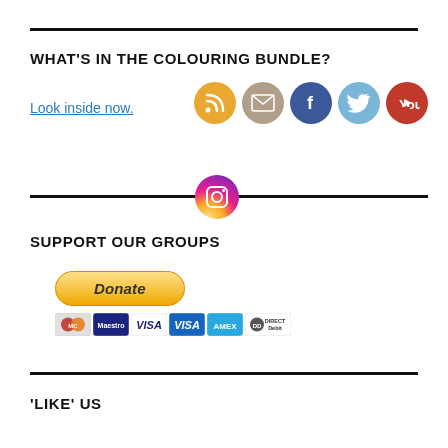WHAT'S IN THE COLOURING BUNDLE?
Look inside now.
[Figure (other): Social media icons: RSS (orange), Email (beige), Facebook (blue), Twitter (light blue), YouTube (red), Instagram (gradient)]
SUPPORT OUR GROUPS
[Figure (other): PayPal Donate button with payment method icons: MasterCard, Maestro, VISA, VISA (blue), American Express, Direct Debit]
'LIKE' US